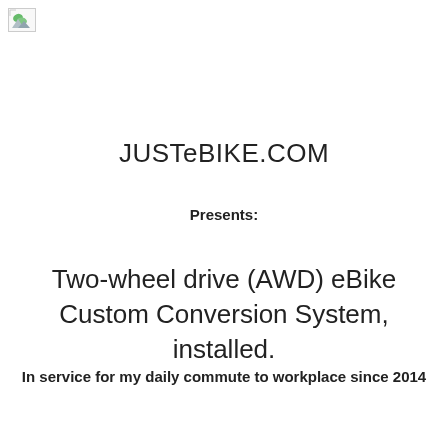[Figure (other): Broken/missing image placeholder icon in top-left corner]
JUSTeBIKE.COM
Presents:
Two-wheel drive (AWD) eBike Custom Conversion System, installed.
In service for my daily commute to workplace since 2014